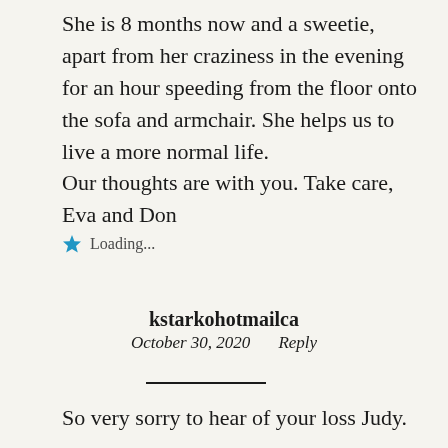She is 8 months now and a sweetie, apart from her craziness in the evening for an hour speeding from the floor onto the sofa and armchair. She helps us to live a more normal life.
Our thoughts are with you. Take care, Eva and Don
Loading...
kstarkohotmailca
October 30, 2020   Reply
So very sorry to hear of your loss Judy.